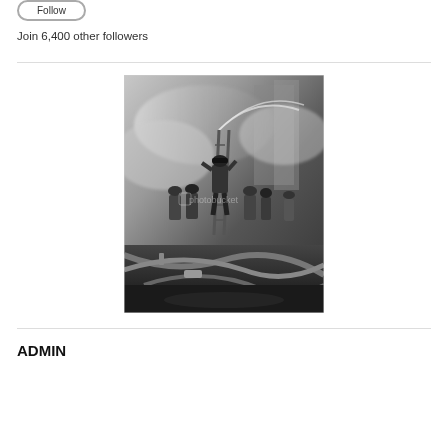Join 6,400 other followers
[Figure (photo): Black and white historical photograph of firefighters battling a fire, with one firefighter climbing a ladder and others on the ground holding hoses. Smoke fills the background. A Photobucket watermark is visible in the center of the image.]
ADMIN